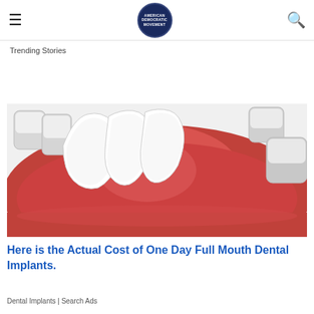≡  [LOGO]  🔍
Trending Stories
[Figure (illustration): 3D illustration of a lower jaw dental model showing teeth and gums, viewed from above, with white teeth on pink gum tissue.]
Here is the Actual Cost of One Day Full Mouth Dental Implants.
Dental Implants | Search Ads